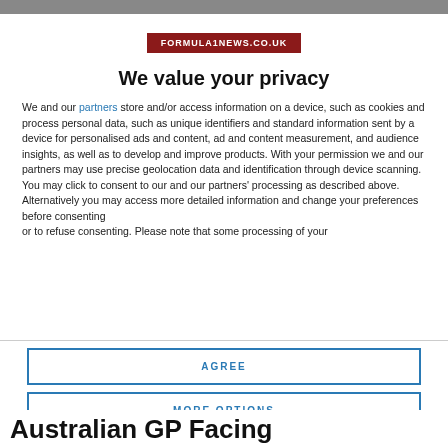[Figure (logo): FORMULA1NEWS.CO.UK logo in dark red/maroon box with white text]
We value your privacy
We and our partners store and/or access information on a device, such as cookies and process personal data, such as unique identifiers and standard information sent by a device for personalised ads and content, ad and content measurement, and audience insights, as well as to develop and improve products. With your permission we and our partners may use precise geolocation data and identification through device scanning. You may click to consent to our and our partners' processing as described above. Alternatively you may access more detailed information and change your preferences before consenting or to refuse consenting. Please note that some processing of your
AGREE
MORE OPTIONS
Australian GP Facing